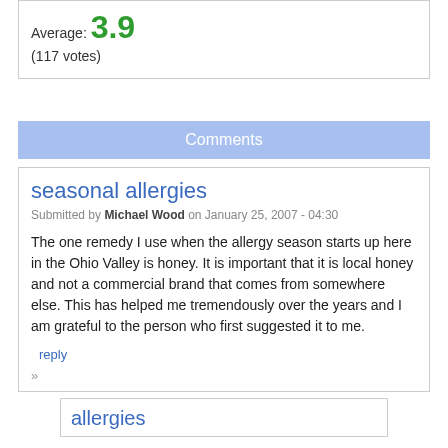Average: 3.9
(117 votes)
Comments
seasonal allergies
Submitted by Michael Wood on January 25, 2007 - 04:30
The one remedy I use when the allergy season starts up here in the Ohio Valley is honey. It is important that it is local honey and not a commercial brand that comes from somewhere else. This has helped me tremendously over the years and I am grateful to the person who first suggested it to me.
reply
»
allergies